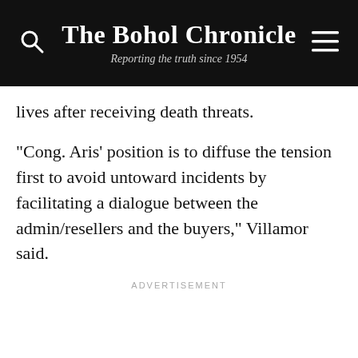The Bohol Chronicle — Reporting the truth since 1954
lives after receiving death threats.
“Cong. Aris’ position is to diffuse the tension first to avoid untoward incidents by facilitating a dialogue between the admin/resellers and the buyers,” Villamor said.
ADVERTISEMENT